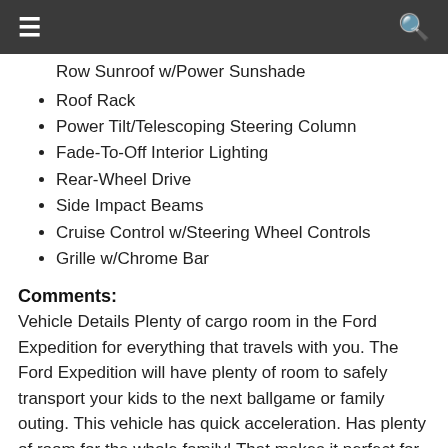≡  🔍
Row Sunroof w/Power Sunshade
Roof Rack
Power Tilt/Telescoping Steering Column
Fade-To-Off Interior Lighting
Rear-Wheel Drive
Side Impact Beams
Cruise Control w/Steering Wheel Controls
Grille w/Chrome Bar
Comments:
Vehicle Details Plenty of cargo room in the Ford Expedition for everything that travels with you. The Ford Expedition will have plenty of room to safely transport your kids to the next ballgame or family outing. This vehicle has quick acceleration. Has plenty of room for the whole family! That makes it perfect for the long summer road trips. This 1/2 ton suv comes loaded with all the features that will meet your needs and then some. Be sure to review the options listed on this page. This 2019 Ford Expedition has dependability you can trust. This